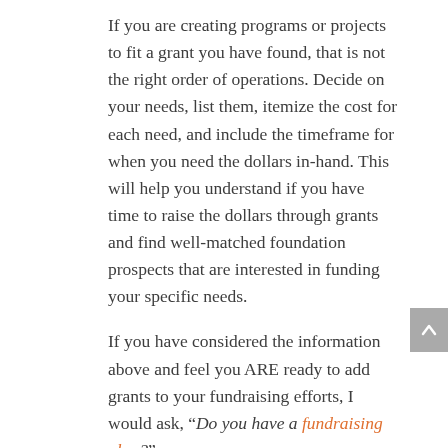If you are creating programs or projects to fit a grant you have found, that is not the right order of operations. Decide on your needs, list them, itemize the cost for each need, and include the timeframe for when you need the dollars in-hand. This will help you understand if you have time to raise the dollars through grants and find well-matched foundation prospects that are interested in funding your specific needs.
If you have considered the information above and feel you ARE ready to add grants to your fundraising efforts, I would ask, "Do you have a fundraising plan?"
Most of the time, that answer is no.  If you don't have a fundraising plan, I encourage you to